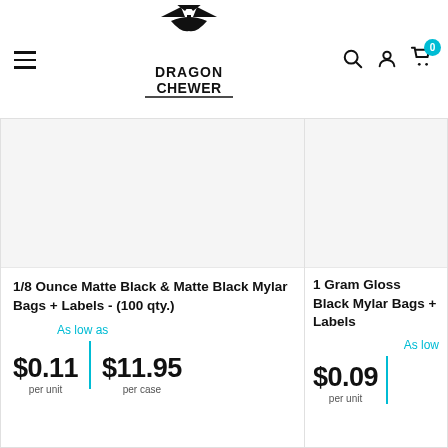[Figure (logo): Dragon Chewer logo — cannabis leaf above stylized bold text reading DRAGON CHEWER]
1/8 Ounce Matte Black & Matte Black Mylar Bags + Labels - (100 qty.)
As low as
$0.11 per unit | $11.95 per case
1 Gram Gloss Black Mylar Bags + Labels
As low
$0.09 per unit